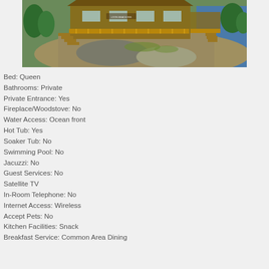[Figure (photo): Aerial/elevated view of a wooden lodge or inn built on rocky oceanfront terrain with stairs, decks, and surrounding trees and water visible in the background.]
Bed: Queen
Bathrooms: Private
Private Entrance: Yes
Fireplace/Woodstove: No
Water Access: Ocean front
Hot Tub: Yes
Soaker Tub: No
Swimming Pool: No
Jacuzzi: No
Guest Services: No
Satellite TV
In-Room Telephone: No
Internet Access: Wireless
Accept Pets: No
Kitchen Facilities: Snack
Breakfast Service: Common Area Dining